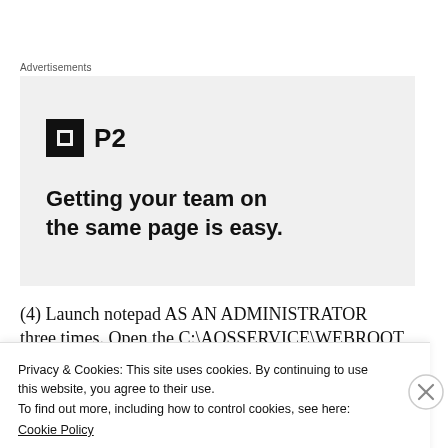Advertisements
[Figure (illustration): P2 advertisement banner with logo icon and tagline 'Getting your team on the same page is easy.']
(4) Launch notepad AS AN ADMINISTRATOR three times. Open the C:\AOSSERVICE\WEBROOT
Privacy & Cookies: This site uses cookies. By continuing to use this website, you agree to their use.
To find out more, including how to control cookies, see here:
Cookie Policy
Close and accept